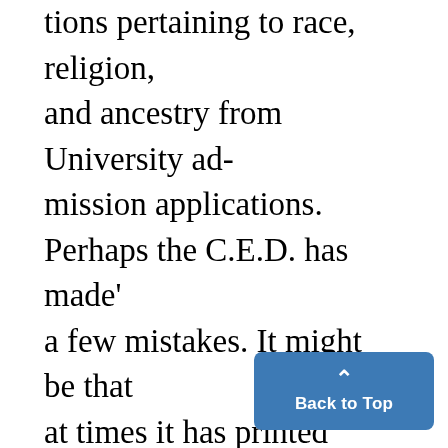tions pertaining to race, religion, and ancestry from University admission applications. Perhaps the C.E.D. has made' a few mistakes. It might be that at times it has printed material which has seemed too radical (whatever that is), but it has never lost sight of its very important goal. And because it has worked so long and will continue to work to reach its goal, the C.E.D. deserves our appreciatio C.E.D. has recognized all along